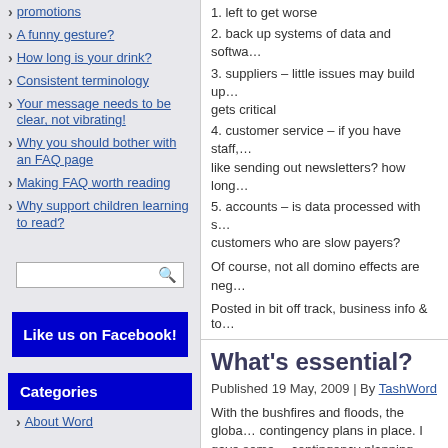promotions
A funny gesture?
How long is your drink?
Consistent terminology
Your message needs to be clear, not vibrating!
Why you should bother with an FAQ page
Making FAQ worth reading
Why support children learning to read?
[Figure (other): Search input box with magnifying glass icon]
Like us on Facebook!
Categories
About Word
1. left to get worse
2. back up systems of data and softwa...
3. suppliers – little issues may build up... gets critical
4. customer service – if you have staff,... like sending out newsletters? how long...
5. accounts – is data processed with s... customers who are slow payers?
Of course, not all domino effects are neg...
Posted in bit off track, business info & to...
What's essential?
Published 19 May, 2009 | By TashWord
With the bushfires and floods, the globa... contingency plans in place. I gave some... contingency planning requires even more...
A key step in ensuring your business car... essential is what helps you survive – oth...
For example, it is important to have the W... software for preparing documents (yes, h...
So what is essential in your business? Th...
Imagine a dentist's surgery without a de...